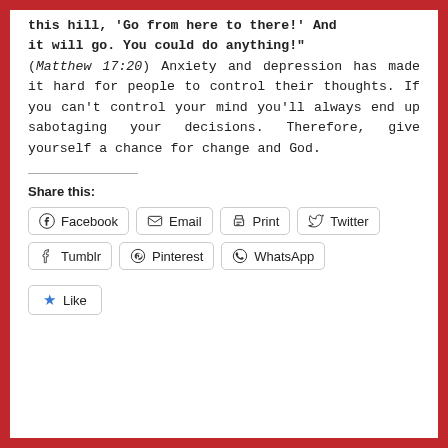this hill, 'Go from here to there!' And it will go. You could do anything!" (Matthew 17:20) Anxiety and depression has made it hard for people to control their thoughts. If you can't control your mind you'll always end up sabotaging your decisions. Therefore, give yourself a chance for change and God.
Share this:
Facebook | Email | Print | Twitter | Tumblr | Pinterest | WhatsApp
Like